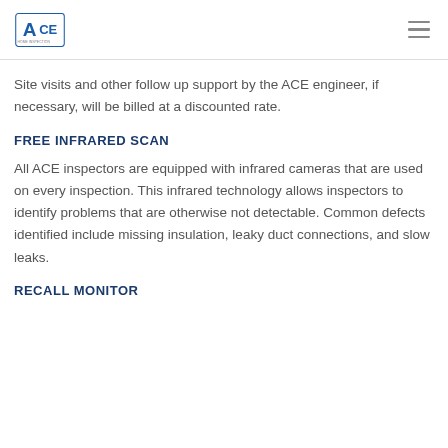ACE logo and navigation menu
Site visits and other follow up support by the ACE engineer, if necessary, will be billed at a discounted rate.
FREE INFRARED SCAN
All ACE inspectors are equipped with infrared cameras that are used on every inspection. This infrared technology allows inspectors to identify problems that are otherwise not detectable. Common defects identified include missing insulation, leaky duct connections, and slow leaks.
RECALL MONITOR